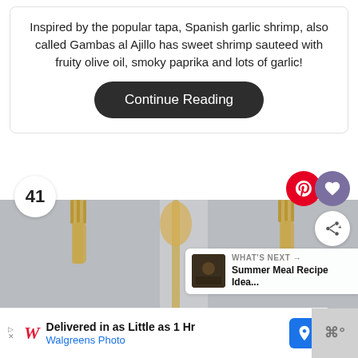Inspired by the popular tapa, Spanish garlic shrimp, also called Gambas al Ajillo has sweet shrimp sauteed with fruity olive oil, smoky paprika and lots of garlic!
Continue Reading
41
[Figure (photo): Close-up photo of gold/brass cutlery (forks and spoons) on a light gray background, partially blurred]
WHAT'S NEXT → Summer Meal Recipe Idea...
Delivered in as Little as 1 Hr Walgreens Photo